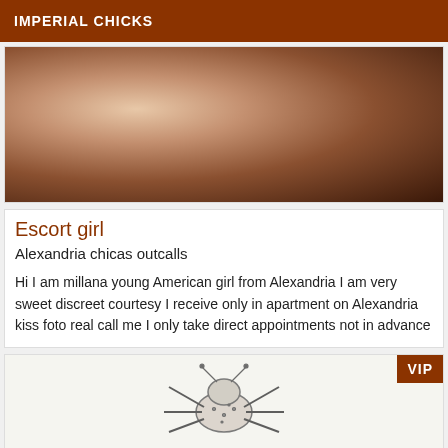IMPERIAL CHICKS
[Figure (photo): Close-up photo of a person, warm toned, dark background]
Escort girl
Alexandria chicas outcalls
Hi I am millana young American girl from Alexandria I am very sweet discreet courtesy I receive only in apartment on Alexandria kiss foto real call me I only take direct appointments not in advance
[Figure (illustration): Sketch illustration, possibly of an animal or figure, partially visible. VIP badge in top right corner.]